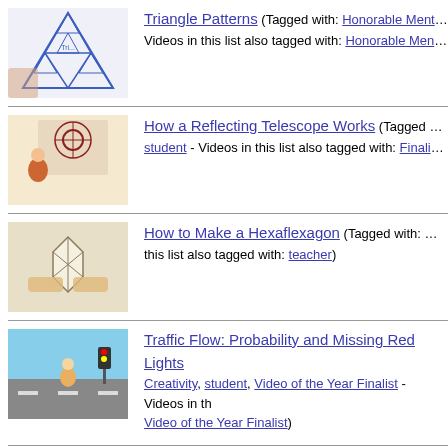Triangle Patterns (Tagged with: Honorable Mention, m... Videos in this list also tagged with: Honorable Mention, te...
How a Reflecting Telescope Works (Tagged with: F... student - Videos in this list also tagged with: Finalist, stud...
How to Make a Hexaflexagon (Tagged with: math, F... this list also tagged with: teacher)
Traffic Flow: Probability and Missing Red Lights (Tagged with: Creativity, student, Video of the Year Finalist - Videos in th... Video of the Year Finalist)